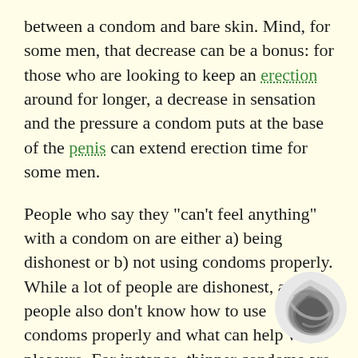between a condom and bare skin. Mind, for some men, that decrease can be a bonus: for those who are looking to keep an erection around for longer, a decrease in sensation and the pressure a condom puts at the base of the penis can extend erection time for some men.
People who say they "can't feel anything" with a condom on are either a) being dishonest or b) not using condoms properly. While a lot of people are dishonest, a lot of people also don't know how to use condoms properly and what can help with pleasure. For instance, thinner condoms are just as safe as thicker ones. There are more condom types than what your average drugstore can and some kinds of condoms have all kinds of stuff going on to help increase pleasure, like extra
[Figure (logo): A circular logo with dark grey and light grey swirling wave pattern on a white circle background]